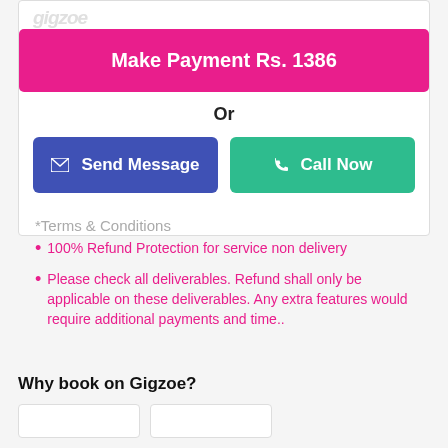[Figure (screenshot): Make Payment button with pink background showing Rs. 1386]
Or
[Figure (screenshot): Send Message (blue) and Call Now (green) buttons side by side]
*Terms & Conditions
100% Refund Protection for service non delivery
Please check all deliverables. Refund shall only be applicable on these deliverables. Any extra features would require additional payments and time..
Why book on Gigzoe?